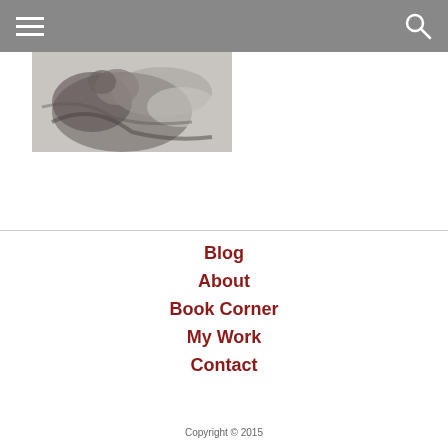Navigation header with hamburger menu and search icon
[Figure (photo): Black and white photograph of a person lying down, possibly with a baby or child]
Blog
About
Book Corner
My Work
Contact
Copyright © 2015